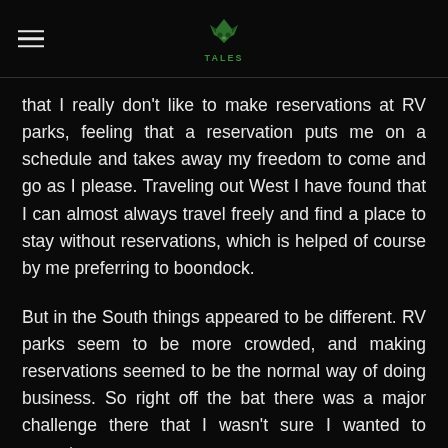FOX TALES
that I really don't like to make reservations at RV parks, feeling that a reservation puts me on a schedule and takes away my freedom to come and go as I please. Traveling out West I have found that I can almost always travel freely and find a place to stay without reservations, which is helped of course by me preferring to boondock.
But in the South things appeared to be different. RV parks seem to be more crowded, and making reservations seemed to be the normal way of doing business. So right off the bat there was a major challenge there that I wasn't sure I wanted to accept.
Giving it a lot of thought I believe I've come to grips with the possibility of having to make reservations and still